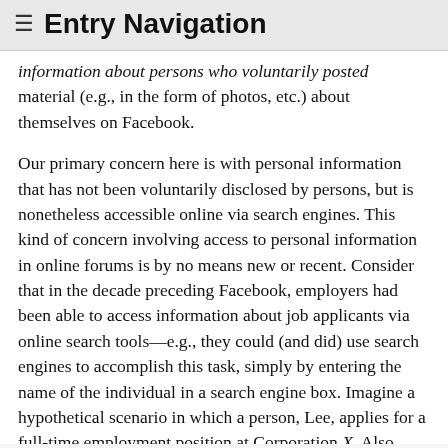≡ Entry Navigation
information about persons who voluntarily posted material (e.g., in the form of photos, etc.) about themselves on Facebook.
Our primary concern here is with personal information that has not been voluntarily disclosed by persons, but is nonetheless accessible online via search engines. This kind of concern involving access to personal information in online forums is by no means new or recent. Consider that in the decade preceding Facebook, employers had been able to access information about job applicants via online search tools—e.g., they could (and did) use search engines to accomplish this task, simply by entering the name of the individual in a search engine box. Imagine a hypothetical scenario in which a person, Lee, applies for a full-time employment position at Corporation X. Also, imagine that someone on the corporation's search committee for this position decides to conduct an online search about Lee, shortly after receiving her application. Further imagine that in response to the query about Lee, three results are returned by the search engine. One result